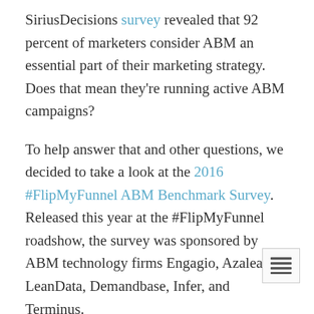SiriusDecisions survey revealed that 92 percent of marketers consider ABM an essential part of their marketing strategy. Does that mean they're running active ABM campaigns?
To help answer that and other questions, we decided to take a look at the 2016 #FlipMyFunnel ABM Benchmark Survey. Released this year at the #FlipMyFunnel roadshow, the survey was sponsored by ABM technology firms Engagio, Azalead, LeanData, Demandbase, Infer, and Terminus.
1. Do You Currently Have An Account-Based Marketing